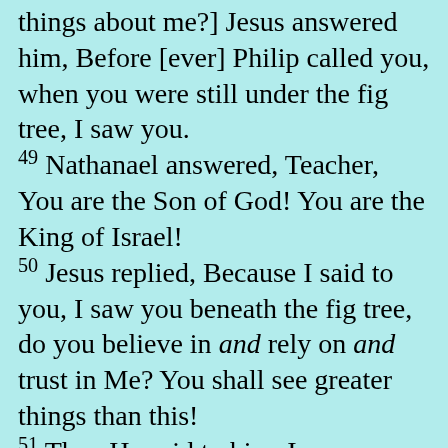things about me?] Jesus answered him, Before [ever] Philip called you, when you were still under the fig tree, I saw you. 49 Nathanael answered, Teacher, You are the Son of God! You are the King of Israel! 50 Jesus replied, Because I said to you, I saw you beneath the fig tree, do you believe in and rely on and trust in Me? You shall see greater things than this! 51 Then He said to him, I assure you, most solemnly I tell you all, you shall see heaven opened, and the angels of God ascending and descending upon the Son of Man!